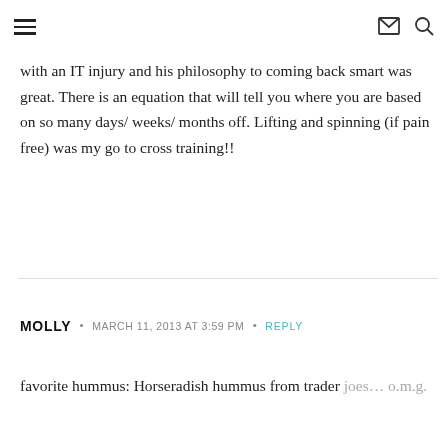≡  ✉ 🔍
with an IT injury and his philosophy to coming back smart was great. There is an equation that will tell you where you are based on so many days/ weeks/ months off. Lifting and spinning (if pain free) was my go to cross training!!
MOLLY • MARCH 11, 2013 AT 3:59 PM • REPLY
favorite hummus: Horseradish hummus from trader joes… o.m.g.